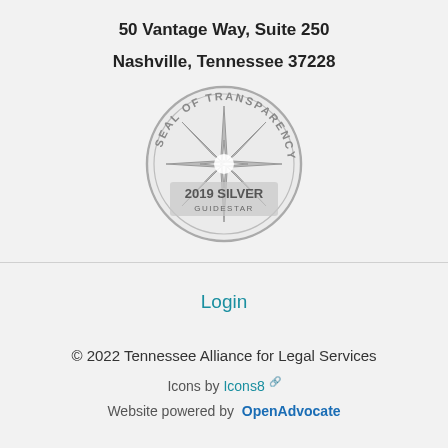50 Vantage Way, Suite 250
Nashville, Tennessee 37228
[Figure (illustration): GuideStar Seal of Transparency 2019 Silver badge — circular seal with compass star design, text reading 'SEAL OF TRANSPARENCY' around the top arc, '2019 SILVER' in the center, and 'GuideStar' at the bottom, rendered in gray tones.]
Login
© 2022 Tennessee Alliance for Legal Services
Icons by Icons8 🔗
Website powered by OpenAdvocate